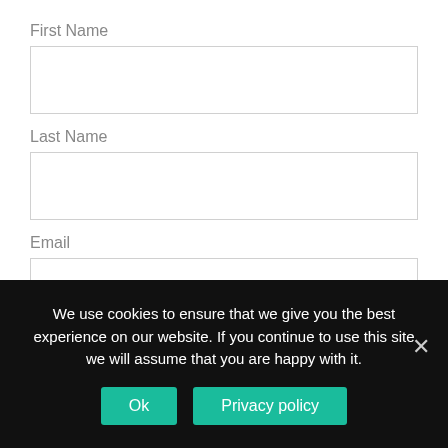First Name
Last Name
Email
SUBMIT
We use cookies to ensure that we give you the best experience on our website. If you continue to use this site we will assume that you are happy with it.
Ok
Privacy policy